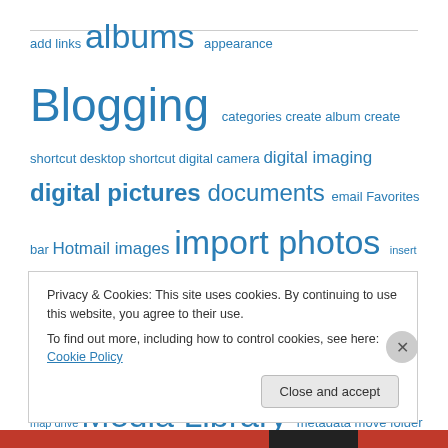add links albums appearance Blogging categories create album create shortcut desktop shortcut digital camera digital imaging digital pictures documents email Favorites bar Hotmail images import photos insert album Library link to album Live Mail Live Photo Gallery Live Writer map drive Media Library metadata move folder multiple SkyDrive apps new blog on-screen keyboard OneDrive online storage Paint Photo Gallery
Privacy & Cookies: This site uses cookies. By continuing to use this website, you agree to their use. To find out more, including how to control cookies, see here: Cookie Policy